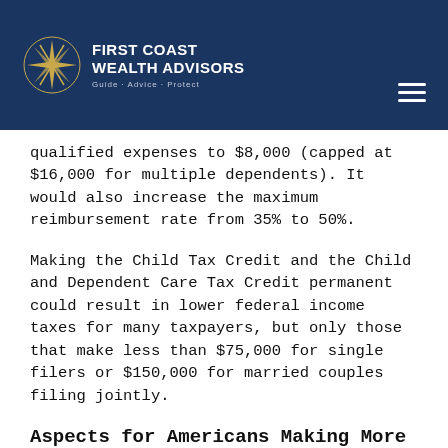First Coast Wealth Advisors — Guide · Advice · Protect
qualified expenses to $8,000 (capped at $16,000 for multiple dependents). It would also increase the maximum reimbursement rate from 35% to 50%.
Making the Child Tax Credit and the Child and Dependent Care Tax Credit permanent could result in lower federal income taxes for many taxpayers, but only those that make less than $75,000 for single filers or $150,000 for married couples filing jointly.
Aspects for Americans Making More